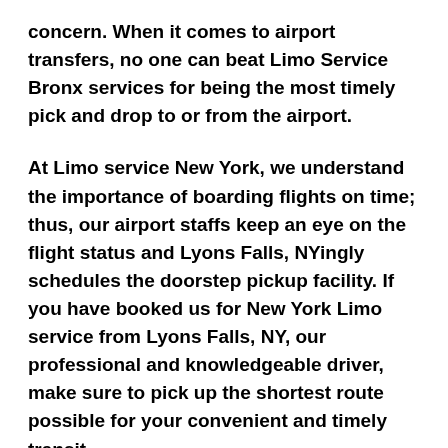concern. When it comes to airport transfers, no one can beat Limo Service Bronx services for being the most timely pick and drop to or from the airport.
At Limo service New York, we understand the importance of boarding flights on time; thus, our airport staffs keep an eye on the flight status and Lyons Falls, NYingly schedules the doorstep pickup facility. If you have booked us for New York Limo service from Lyons Falls, NY, our professional and knowledgeable driver, make sure to pick up the shortest route possible for your convenient and timely transit.
The highly skilled and talented chauffeur of Luxury Limo service New York City makes the place of the